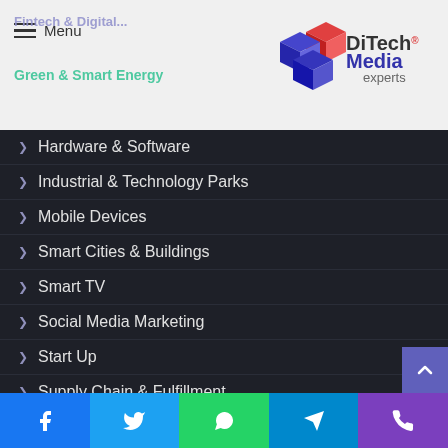DiTech Media Experts - Menu
Hardware & Software
Industrial & Technology Parks
Mobile Devices
Smart Cities & Buildings
Smart TV
Social Media Marketing
Start Up
Supply Chain & Fulfillment
Telecommunications & 5G
Video Marketing
Women Entrepreneurship & Digital Technologies
Facebook | Twitter | WhatsApp | Telegram | Phone